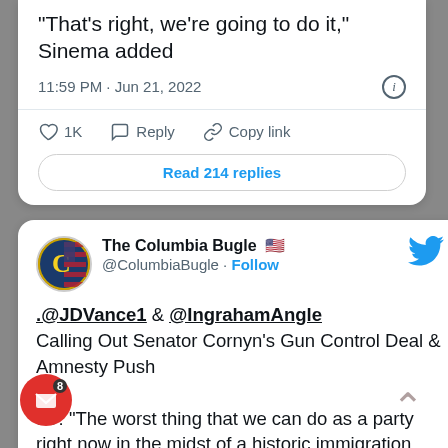“That’s right, we’re going to do it,” Sinema added
11:59 PM · Jun 21, 2022
1K  Reply  Copy link
Read 214 replies
The Columbia Bugle 🇺🇸 @ColumbiaBugle · Follow
.@JDVance1 & @IngrahamAngle Calling Out Senator Cornyn’s Gun Control Deal & Amnesty Push

JD: "The worst thing that we can do as a party right now in the midst of a historic immigration crisis is to advance amnesty. And if we do it, we